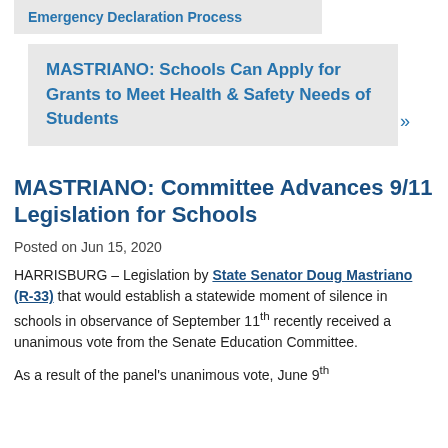Emergency Declaration Process
MASTRIANO: Schools Can Apply for Grants to Meet Health & Safety Needs of Students »
MASTRIANO: Committee Advances 9/11 Legislation for Schools
Posted on Jun 15, 2020
HARRISBURG – Legislation by State Senator Doug Mastriano (R-33) that would establish a statewide moment of silence in schools in observance of September 11th recently received a unanimous vote from the Senate Education Committee.
As a result of the panel's unanimous vote, June 9th